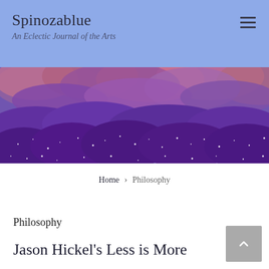Spinozablue
An Eclectic Journal of the Arts
[Figure (illustration): A detailed painterly illustration of rolling purple hills or lavender fields beneath a swirling purple and pink sky with red-pink cloud formations. The foreground features dark purple rounded shrubs sparkling with white speckles suggesting stars or light reflections.]
Home › Philosophy
Philosophy
Jason Hickel's Less is More